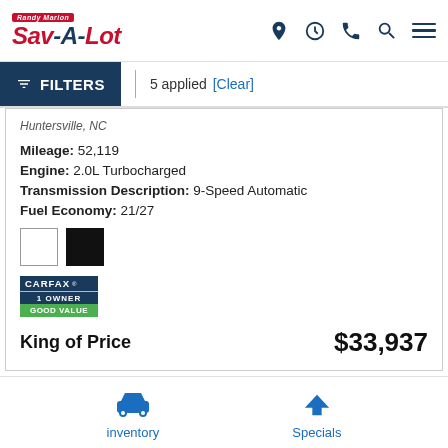Randy Marion Sav-A-Lot | navigation icons
FILTERS | 5 applied [Clear]
Huntersville, NC
Mileage: 52,119
Engine: 2.0L Turbocharged
Transmission Description: 9-Speed Automatic
Fuel Economy: 21/27
[Figure (other): Color swatches: white and black]
[Figure (logo): CARFAX 1 Owner Good Value badge]
King of Price  $33,937
inventory | Specials